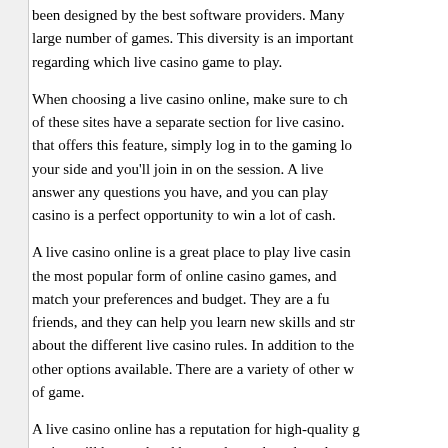been designed by the best software providers. Many large number of games. This diversity is an important regarding which live casino game to play.
When choosing a live casino online, make sure to ch of these sites have a separate section for live casino. that offers this feature, simply log in to the gaming lo your side and you'll join in on the session. A live answer any questions you have, and you can play casino is a perfect opportunity to win a lot of cash.
A live casino online is a great place to play live casin the most popular form of online casino games, and match your preferences and budget. They are a fu friends, and they can help you learn new skills and str about the different live casino rules. In addition to the other options available. There are a variety of other w of game.
A live casino online has a reputation for high-quality g casino will be regulated by regulatory boards and w bets. You may also want to consider the game dive have a wide variety of table games. This will giv addition, a live dealer will be more responsive a comfortable with these, you can always contact th license.